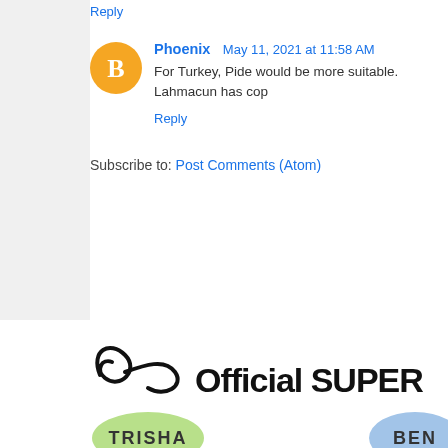Reply
Phoenix  May 11, 2021 at 11:58 AM
For Turkey, Pide would be more suitable. Lahmacun has cop…
Reply
Subscribe to: Post Comments (Atom)
[Figure (illustration): Blog logo with decorative swirl and text 'Official SUPER' with colored ovals containing names 'TRISHA' (green) and 'BEN…' (blue)]